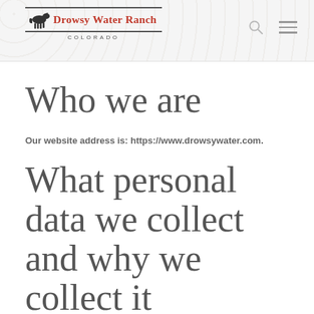Drowsy Water Ranch COLORADO
Who we are
Our website address is: https://www.drowsywater.com.
What personal data we collect and why we collect it